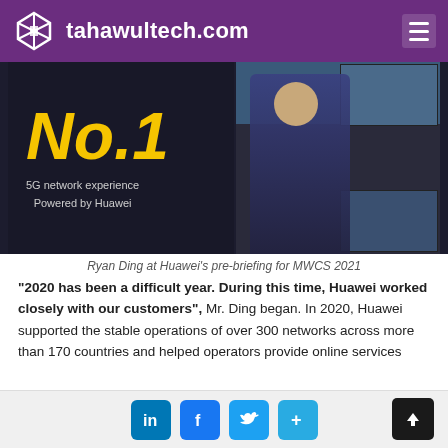tahawultech.com
[Figure (photo): Ryan Ding presenting at Huawei's pre-briefing for MWCS 2021, with a slide showing 'No.1 - 5G network experience Powered by Huawei' on the left and city skyline images in the background]
Ryan Ding at Huawei's pre-briefing for MWCS 2021
“2020 has been a difficult year. During this time, Huawei worked closely with our customers”, Mr. Ding began. In 2020, Huawei supported the stable operations of over 300 networks across more than 170 countries and helped operators provide online services
LinkedIn Facebook Twitter Share